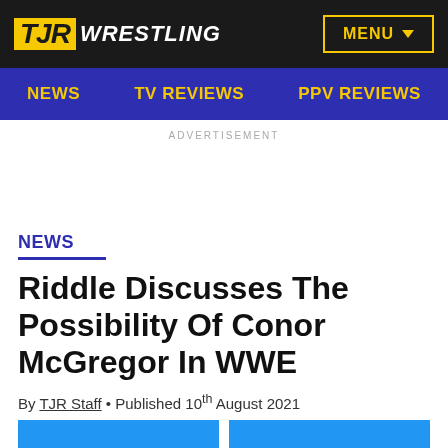TJR WRESTLING | MENU
NEWS   TV REVIEWS   PPV REVIEWS
ADVERTISEMENT
NEWS
Riddle Discusses The Possibility Of Conor McGregor In WWE
By TJR Staff • Published 10th August 2021